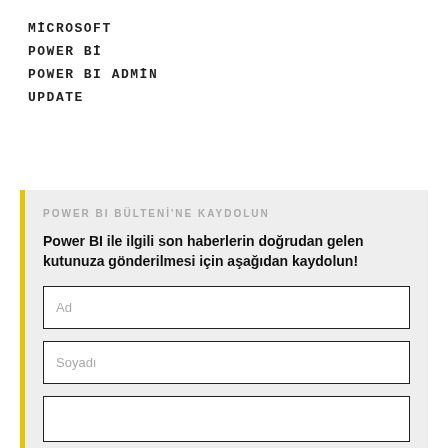MİCROSOFT
POWER Bİ
POWER BI ADMİN
UPDATE
POWER BI BÜLTENİ'NE KAYDOLUN
Power BI ile ilgili son haberlerin doğrudan gelen kutunuza gönderilmesi için aşağıdan kaydolun!
Ad
Soyadı